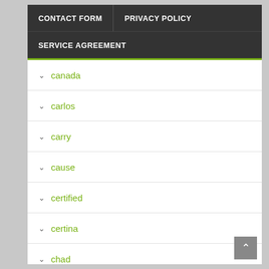CONTACT FORM | PRIVACY POLICY | SERVICE AGREEMENT
canada
carlos
carry
cause
certified
certina
chad
channel
charles
cheapest
cleaning